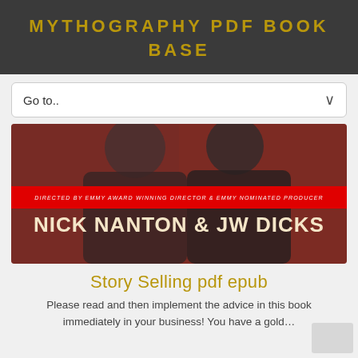MYTHOGRAPHY PDF BOOK BASE
Go to..
[Figure (photo): Book cover image showing two men in black clothing against a red background with text 'DIRECTED BY EMMY AWARD WINNING DIRECTOR & EMMY NOMINATED PRODUCER — NICK NANTON & JW DICKS']
Story Selling pdf epub
Please read and then implement the advice in this book immediately in your business! You have a gold...